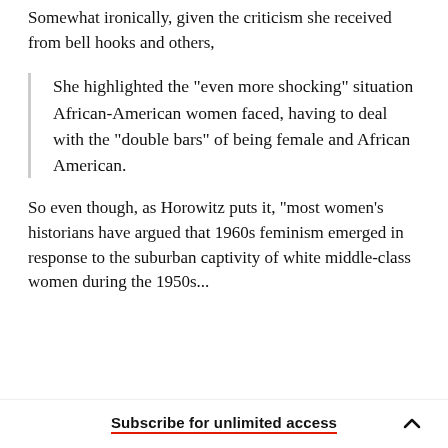Somewhat ironically, given the criticism she received from bell hooks and others,
She highlighted the "even more shocking" situation African-American women faced, having to deal with the "double bars" of being female and African American.
So even though, as Horowitz puts it, "most women's historians have argued that 1960s feminism emerged in response to the suburban captivity of white middle-class women during the 1950s...
Subscribe for unlimited access